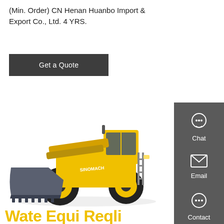(Min. Order) CN Henan Huanbo Import & Export Co., Ltd. 4 YRS.
Get a Quote
[Figure (photo): Yellow wheel loader (front loader) with large grey bucket, branded SINOMACH, on white background]
[Figure (infographic): Dark grey sidebar with Chat, Email, and Contact icons in white]
Wate Equi Reqli...